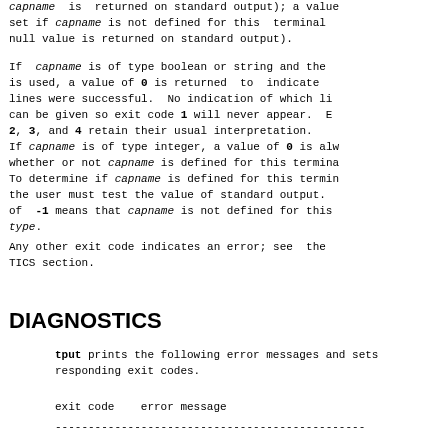capname  is  returned on standard output); a value set if capname is not defined for this  terminal null value is returned on standard output).
If  capname is of type boolean or string and the is used, a value of 0 is returned  to  indicate lines were successful.  No indication of which can be given so exit code 1 will never appear. 2, 3, and 4 retain their usual interpretation.
If capname is of type integer, a value of 0 is whether or not capname is defined for this termin To determine if capname is defined for this term the user must test the value of standard output. of  -1 means that capname is not defined for this type.
Any other exit code indicates an error; see  the TICS section.
DIAGNOSTICS
tput prints the following error messages and sets responding exit codes.
exit code    error message
-----------------------------------------------